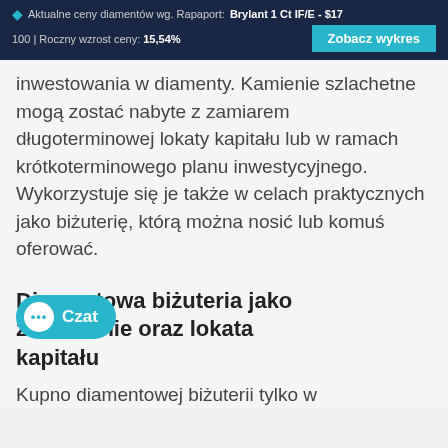Aktualne ceny diamentów wg. Rapaport: Brylant 1 Ct IF/E - $17 100 | Roczny wzrost ceny: 15,54% Zobacz wykres
inwestowania w diamenty. Kamienie szlachetne mogą zostać nabyte z zamiarem długoterminowej lokaty kapitału lub w ramach krótkoterminowego planu inwestycyjnego. Wykorzystuje się je także w celach praktycznych jako biżuterię, którą można nosić lub komuś oferować.
Diamentowa biżuteria jako zabezpieczenie oraz lokata kapitału
Kupno diamentowej biżuterii tylko w